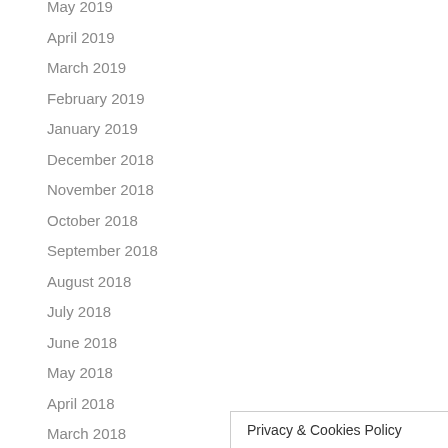May 2019
April 2019
March 2019
February 2019
January 2019
December 2018
November 2018
October 2018
September 2018
August 2018
July 2018
June 2018
May 2018
April 2018
March 2018
Privacy & Cookies Policy